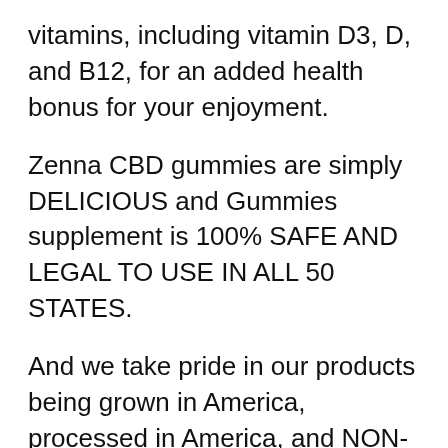vitamins, including vitamin D3, D, and B12, for an added health bonus for your enjoyment.
Zenna CBD gummies are simply DELICIOUS and Gummies supplement is 100% SAFE AND LEGAL TO USE IN ALL 50 STATES.
And we take pride in our products being grown in America, processed in America, and NON-GMO. You can be confident in your purchase! It is Natural, No Prescription Required and it's Safe Formula.
The MHRA review found that CBD has a "restoring, correcting or modifying" effect on